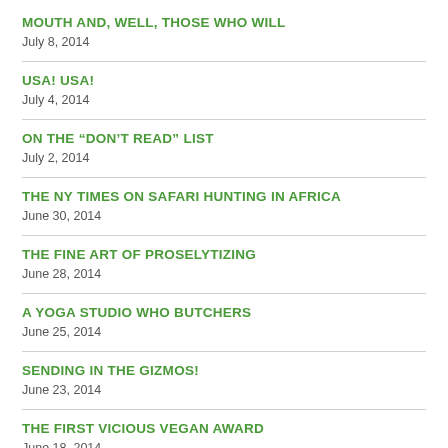MOUTH AND, WELL, THOSE WHO WILL
July 8, 2014
USA! USA!
July 4, 2014
ON THE “DON’T READ” LIST
July 2, 2014
THE NY TIMES ON SAFARI HUNTING IN AFRICA
June 30, 2014
THE FINE ART OF PROSELYTIZING
June 28, 2014
A YOGA STUDIO WHO BUTCHERS
June 25, 2014
SENDING IN THE GIZMOS!
June 23, 2014
THE FIRST VICIOUS VEGAN AWARD
June 18, 2014
ARTS AND CRAFTS AND THE BODIES OF MICE